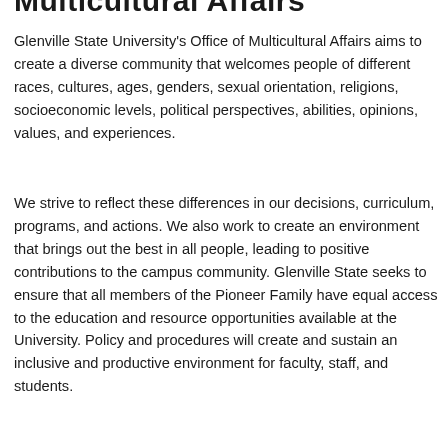Multicultural Affairs
Glenville State University's Office of Multicultural Affairs aims to create a diverse community that welcomes people of different races, cultures, ages, genders, sexual orientation, religions, socioeconomic levels, political perspectives, abilities, opinions, values, and experiences.
We strive to reflect these differences in our decisions, curriculum, programs, and actions. We also work to create an environment that brings out the best in all people, leading to positive contributions to the campus community. Glenville State seeks to ensure that all members of the Pioneer Family have equal access to the education and resource opportunities available at the University. Policy and procedures will create and sustain an inclusive and productive environment for faculty, staff, and students.